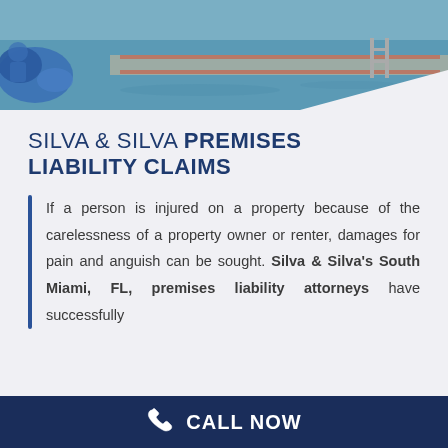[Figure (photo): Swimming pool area with blue towel or inflatable item in the foreground, pool ladder visible, outdoor setting]
SILVA & SILVA PREMISES LIABILITY CLAIMS
If a person is injured on a property because of the carelessness of a property owner or renter, damages for pain and anguish can be sought. Silva & Silva's South Miami, FL, premises liability attorneys have successfully
CALL NOW